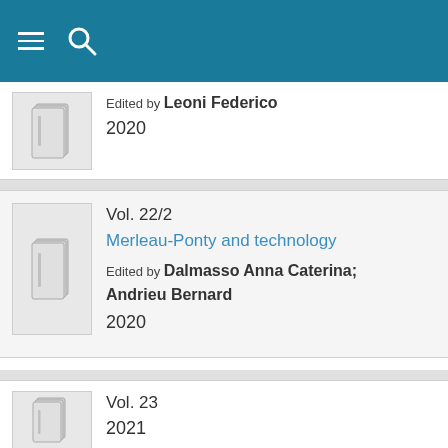[Figure (screenshot): Navigation bar with hamburger menu and search icon on teal/dark cyan background]
Edited by Leoni Federico
2020
Vol. 22/2
Merleau-Ponty and technology
Edited by Dalmasso Anna Caterina; Andrieu Bernard
2020
Vol. 23
2021